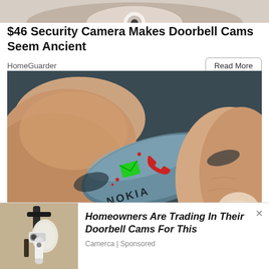[Figure (photo): Cropped top portion of a security camera image]
$46 Security Camera Makes Doorbell Cams Seem Ancient
HomeGuarder
[Figure (photo): A person holding a tiny Nokia FIT concept phone/device between their fingers. The device shows a green message icon and a red phone icon with Nokia branding and 'FIT.' text.]
Here Are 23 of the Coolest Gifts for This 2023
[Figure (photo): Outdoor wall-mounted security camera on a building exterior]
Homeowners Are Trading In Their Doorbell Cams For This
Camerca | Sponsored